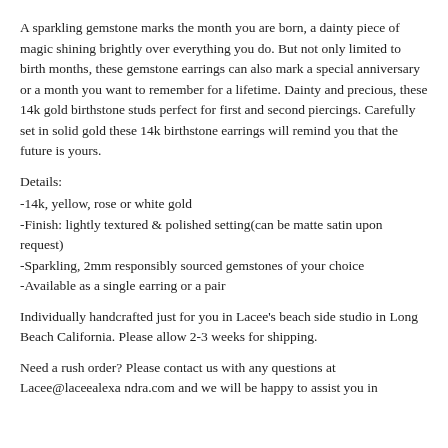A sparkling gemstone marks the month you are born, a dainty piece of magic shining brightly over everything you do. But not only limited to birth months, these gemstone earrings can also mark a special anniversary or a month you want to remember for a lifetime. Dainty and precious, these 14k gold birthstone studs perfect for first and second piercings. Carefully set in solid gold these 14k birthstone earrings will remind you that the future is yours.
Details:
-14k, yellow, rose or white gold
-Finish: lightly textured & polished setting(can be matte satin upon request)
-Sparkling, 2mm responsibly sourced gemstones of your choice
-Available as a single earring or a pair
Individually handcrafted just for you in Lacee's beach side studio in Long Beach California. Please allow 2-3 weeks for shipping.
Need a rush order? Please contact us with any questions at Lacee@laceealexa ndra.com and we will be happy to assist you in